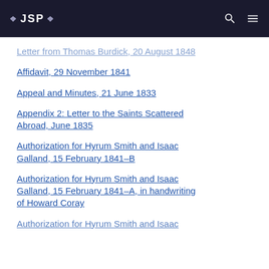JSP
Letter from Thomas Burdick, 20 August 1848
Affidavit, 29 November 1841
Appeal and Minutes, 21 June 1833
Appendix 2: Letter to the Saints Scattered Abroad, June 1835
Authorization for Hyrum Smith and Isaac Galland, 15 February 1841–B
Authorization for Hyrum Smith and Isaac Galland, 15 February 1841–A, in handwriting of Howard Coray
Authorization for Hyrum Smith and Isaac